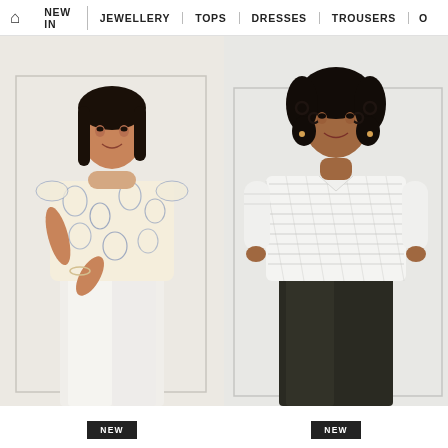🏠 NEW IN | JEWELLERY | TOPS | DRESSES | TROUSERS | O
[Figure (photo): Female model wearing a floral printed sleeveless top in cream/white with blue floral pattern, paired with white trousers. Model is smiling with straight dark hair.]
[Figure (photo): Female model wearing a white striped/textured 3/4 sleeve top with notch neckline, paired with dark/black trousers. Model is smiling with curly dark hair.]
NEW
NEW